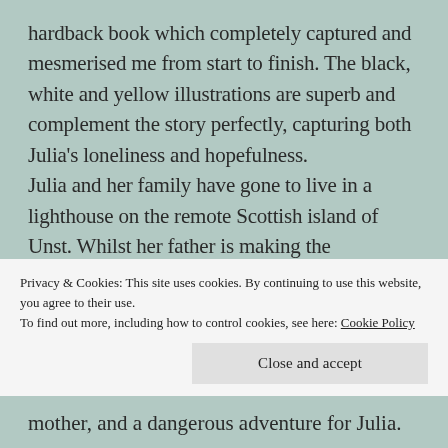hardback book which completely captured and mesmerised me from start to finish. The black, white and yellow illustrations are superb and complement the story perfectly, capturing both Julia's loneliness and hopefulness. Julia and her family have gone to live in a lighthouse on the remote Scottish island of Unst. Whilst her father is making the lighthouse automated, her mother is determined, for very personal reasons, to find a Greenland shark with
Privacy & Cookies: This site uses cookies. By continuing to use this website, you agree to their use. To find out more, including how to control cookies, see here: Cookie Policy
mother, and a dangerous adventure for Julia.